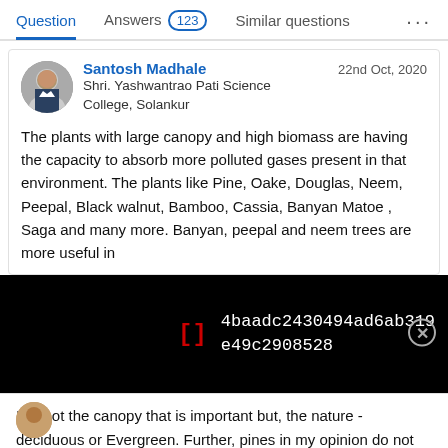Question   Answers 123   Similar questions   ...
Santosh Madhale
Shri. Yashwantrao Pati Science College, Solankur
22nd Oct, 2020
The plants with large canopy and high biomass are having the capacity to absorb more polluted gases present in that environment. The plants like Pine, Oake, Douglas, Neem, Peepal, Black walnut, Bamboo, Cassia, Banyan Matoe , Saga and many more. Banyan, peepal and neem trees are more useful in
[Figure (screenshot): Black overlay bar with red bracket symbol [] and hash text: 4baadc2430494ad6ab319e49c2908528 with a circled X close button]
It is not the canopy that is important but, the nature - deciduous or Evergreen. Further, pines in my opinion do not account for gasesous absorption because of its nature - there are not leaves but needles, please.